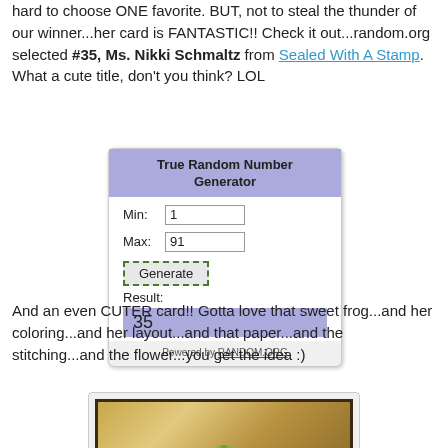hard to choose ONE favorite. BUT, not to steal the thunder of our winner...her card is FANTASTIC!! Check it out...random.org selected #35, Ms. Nikki Schmaltz from Sealed With A Stamp. What a cute title, don't you think? LOL
[Figure (screenshot): Screenshot of True Random Number Generator from random.org. Min: 1, Max: 91, Result: 35]
And an even CUTER card!! Gotta love that sweet frog...and her coloring...and her layout...and that paper...and the stitching...and the flower...you get the idea :)
[Figure (photo): Photo of a handmade greeting card featuring a frog image on a golden/brown patterned background with a dark border.]